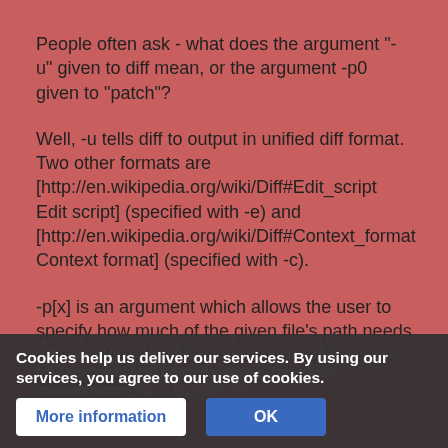People often ask - what does the argument "-u" given to diff mean, or the argument -p0 given to "patch"?
Well, -u tells diff to output in unified diff format.  Two other formats are [http://en.wikipedia.org/wiki/Diff#Edit_script Edit script] (specified with -e) and [http://en.wikipedia.org/wiki/Diff#Context_format Context format] (specified with -c).
-p[x] is an argument which allows the user to specify how much of the given file's path needs to be matched.  -p0 gives the entire file name unmodified.
[http://www.gnu.org/software/diffutils/manual/html_node/pa tch-Directories.html Patch directories The official documentation] has a bit more info...
Cookies help us deliver our services. By using our services, you agree to our use of cookies.
More information
OK